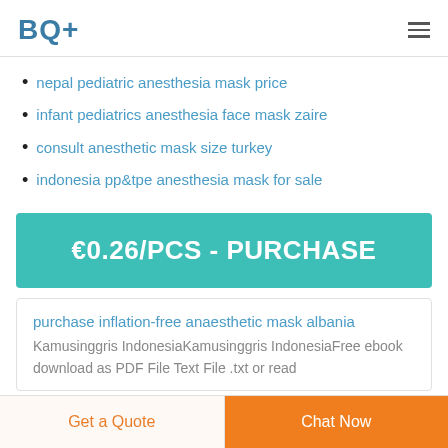BQ+
nepal pediatric anesthesia mask price
infant pediatrics anesthesia face mask zaire
consult anesthetic mask size turkey
indonesia pp&tpe anesthesia mask for sale
€0.26/PCS - PURCHASE
purchase inflation-free anaesthetic mask albania
Kamusinggris IndonesiaKamusinggris IndonesiaFree ebook download as PDF File Text File .txt or read
Get a Quote | Chat Now